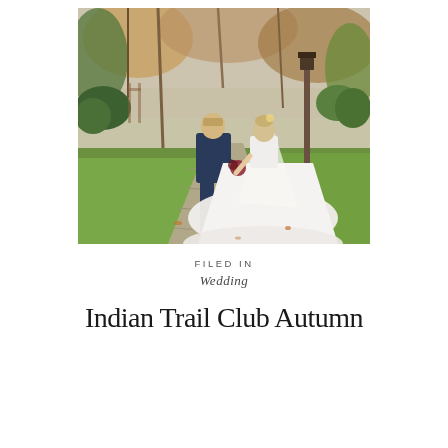[Figure (photo): A bride and groom walking hand-in-hand along a stone pathway in an outdoor garden setting with autumn trees. The groom wears a navy suit and the bride wears a large white ball gown with a long train and veil. A lamp post and manicured lawn are visible in the background.]
FILED IN
Wedding
Indian Trail Club Autumn